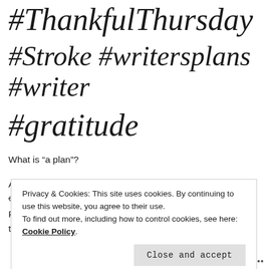#ThankfulThursday
#Stroke #writersplans #writer
#gratitude
What is “a plan”?
A fabulous idea? A well-thought-out decision? An established work routine? A detailed project?
Privacy & Cookies: This site uses cookies. By continuing to use this website, you agree to their use.
To find out more, including how to control cookies, see here: Cookie Policy
Close and accept
Follow